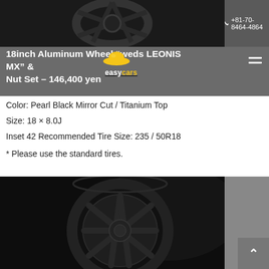+81-70-8464-4864
18inch Aluminum Wheel “weds LEONIS MX” & Nut Set – 146,400 yen
Color: Pearl Black Mirror Cut / Titanium Top
Size: 18 × 8.0J
Inset 42 Recommended Tire Size: 235 / 50R18
* Please use the standard tires.
[Figure (photo): Black aluminum wheel with tire on dark background]